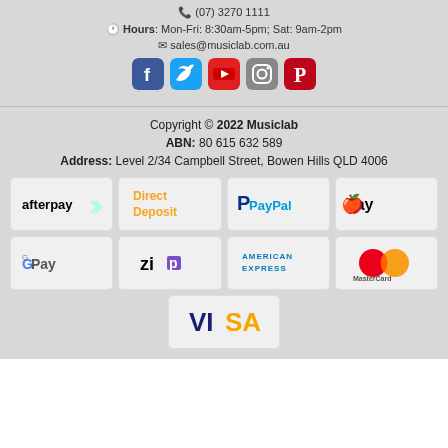(07) 3270 1111
Hours: Mon-Fri: 8:30am-5pm; Sat: 9am-2pm
sales@musiclab.com.au
[Figure (logo): Social media icons: Facebook, Twitter, YouTube, Instagram, Pinterest]
Copyright © 2022 Musiclab
ABN: 80 615 632 589
Address: Level 2/34 Campbell Street, Bowen Hills QLD 4006
[Figure (logo): Payment method logos: Afterpay, Direct Deposit, PayPal, Apple Pay, Google Pay, Zip, American Express, MasterCard, Visa]